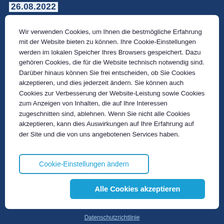26.08.2022
Wir verwenden Cookies, um Ihnen die bestmögliche Erfahrung mit der Website bieten zu können. Ihre Cookie-Einstellungen werden im lokalen Speicher Ihres Browsers gespeichert. Dazu gehören Cookies, die für die Website technisch notwendig sind. Darüber hinaus können Sie frei entscheiden, ob Sie Cookies akzeptieren, und dies jederzeit ändern. Sie können auch Cookies zur Verbesserung der Website-Leistung sowie Cookies zum Anzeigen von Inhalten, die auf Ihre Interessen zugeschnitten sind, ablehnen. Wenn Sie nicht alle Cookies akzeptieren, kann dies Auswirkungen auf Ihre Erfahrung auf der Site und die von uns angebotenen Services haben.
Cookie-Einstellungen ändern
Alle Cookies akzeptieren
Datenschutzrichtlinie